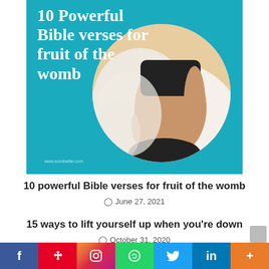[Figure (illustration): Teal background image with text '10 Powerful Bible verses for fruit of the womb' and a circular photo of a pregnant woman in black outfit lying on white bedding. Watermark: www.wordbetter.com]
10 powerful Bible verses for fruit of the womb
June 27, 2021
15 ways to lift yourself up when you're down
October 31, 2020